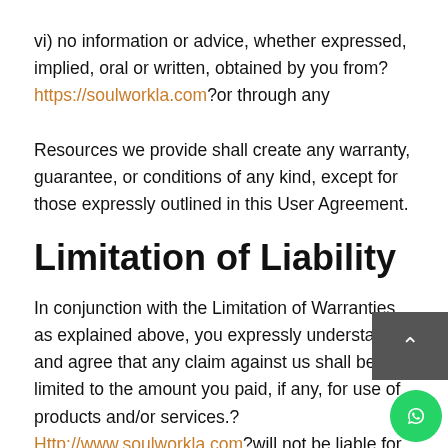vi) no information or advice, whether expressed, implied, oral or written, obtained by you from? https://soulworkla.com?or through any

Resources we provide shall create any warranty, guarantee, or conditions of any kind, except for those expressly outlined in this User Agreement.
Limitation of Liability
In conjunction with the Limitation of Warranties as explained above, you expressly understand and agree that any claim against us shall be limited to the amount you paid, if any, for use of products and/or services.?Http://www.soulworkla.com?will not be liable for any direct, indirect, incidental, consequential or exemplary loss or damages which may be incurred by you as a result of using our Resources, or as a